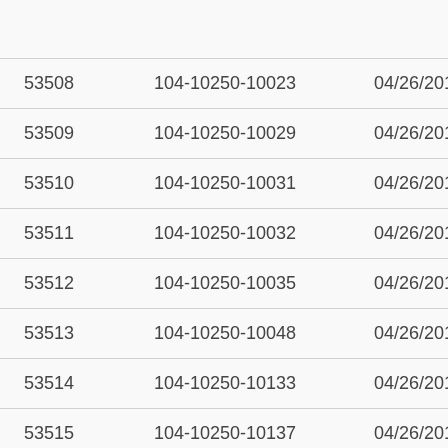| 53508 | 104-10250-10023 | 04/26/2018 | Reda |
| 53509 | 104-10250-10029 | 04/26/2018 | Reda |
| 53510 | 104-10250-10031 | 04/26/2018 | Reda |
| 53511 | 104-10250-10032 | 04/26/2018 | Reda |
| 53512 | 104-10250-10035 | 04/26/2018 | Reda |
| 53513 | 104-10250-10048 | 04/26/2018 | Reda |
| 53514 | 104-10250-10133 | 04/26/2018 | Reda |
| 53515 | 104-10250-10137 | 04/26/2018 | Reda |